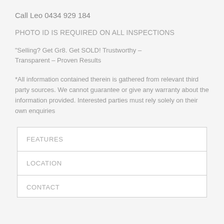Call Leo 0434 929 184
PHOTO ID IS REQUIRED ON ALL INSPECTIONS
“Selling? Get Gr8. Get SOLD! Trustworthy – Transparent – Proven Results
*All information contained therein is gathered from relevant third party sources. We cannot guarantee or give any warranty about the information provided. Interested parties must rely solely on their own enquiries
| FEATURES |
| LOCATION |
| CONTACT |